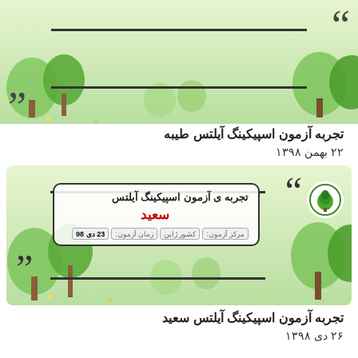[Figure (illustration): Green nature/tree themed card with quote marks and dashes, partially visible at top of page (Tayybeh IELTS speaking experience card)]
تجربه آزمون اسپیکینگ آیلتس طیبه
۲۲ بهمن ۱۳۹۸
[Figure (illustration): Green nature/tree themed card showing IELTS speaking experience for Saeed. Card contains title 'تجربه ی آزمون اسپیکینگ آیلتس', name 'سعید' in red, and metadata boxes: مرکز آزمون, کشور ژاپن, زمان آزمون: 23 دی 98]
تجربه آزمون اسپیکینگ آیلتس سعید
۲۶ دی ۱۳۹۸